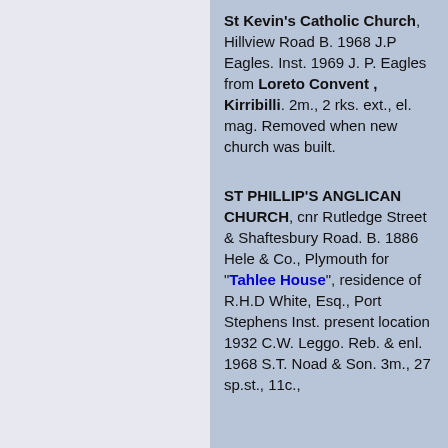St Kevin's Catholic Church, Hillview Road B. 1968 J.P Eagles. Inst. 1969 J. P. Eagles from Loreto Convent , Kirribilli. 2m., 2 rks. ext., el. mag. Removed when new church was built.
ST PHILLIP'S ANGLICAN CHURCH, cnr Rutledge Street & Shaftesbury Road. B. 1886 Hele & Co., Plymouth for "Tahlee House", residence of R.H.D White, Esq., Port Stephens Inst. present location 1932 C.W. Leggo. Reb. & enl. 1968 S.T. Noad & Son. 3m., 27 sp.st., 11c.,